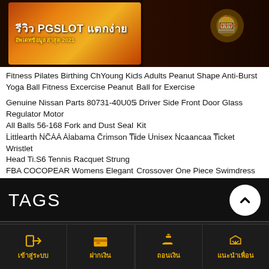[Figure (screenshot): Thai gambling/slot game banner reading 'รีวิว PGSLOT แตกง่าย อัพเดทข้อมูลล่าสุด 2021' with orange/gold background and cartoon characters]
Fitness Pilates Birthing ChYoung Kids Adults Peanut Shape Anti-Burst Yoga Ball Fitness Excercise Peanut Ball for Exercise
Genuine Nissan Parts 80731-40U05 Driver Side Front Door Glass Regulator Motor
All Balls 56-168 Fork and Dust Seal Kit
Littlearth NCAA Alabama Crimson Tide Unisex Ncaancaa Ticket Wristlet
Head Ti.S6 Tennis Racquet Strung
FBA COCOPEAR Womens Elegant Crossover One Piece Swimdress Floral Skirted Swimsuit
Fusion Climb Tyche Chest Rescue Zipline Harness 23kN M-L Black
5 Pairs 10 Plugs Semoic WG-008 24K Gold Safety Connector Banana Plugs
Pack of 2 Thai Handmade Sticky Rice Serving Basket Small Size
Tanming Outdoor Summer Wide Brim Boonie Hat Military Camo Sun Cap for Men or Women
TAGS
เข้าสู่ระบบ | ฝากเงิน | ถอนเงิน | แนะนำเพื่อน